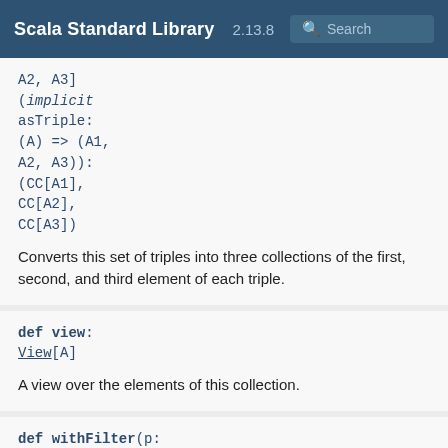Scala Standard Library 2.13.8 Search
A2, A3]
(implicit asTriple: (A) => (A1, A2, A3)): (CC[A1], CC[A2], CC[A3])
Converts this set of triples into three collections of the first, second, and third element of each triple.
def view: View[A]
A view over the elements of this collection.
def withFilter(p: